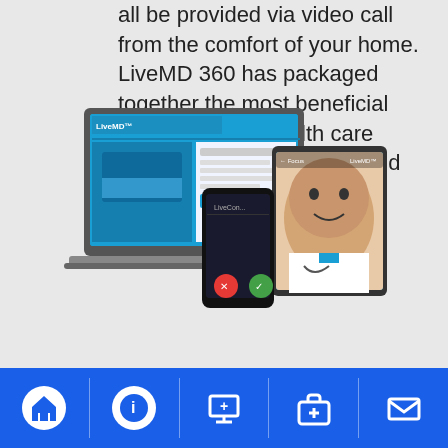all be provided via video call from the comfort of your home. LiveMD 360 has packaged together the most beneficial and affordable health care plans to take care of you and your family.
[Figure (screenshot): Devices showing LiveMD platform: laptop with website, smartphone with call screen, tablet with doctor video call]
Navigation bar with home, info, telemedicine, medical kit, and mail icons